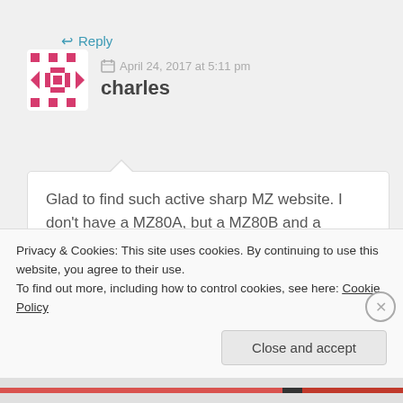↩ Reply
April 24, 2017 at 5:11 pm
charles
Glad to find such active sharp MZ website. I don't have a MZ80A, but a MZ80B and a MZ80A. I started basic programming in a MZ80B at
Privacy & Cookies: This site uses cookies. By continuing to use this website, you agree to their use. To find out more, including how to control cookies, see here: Cookie Policy
Close and accept